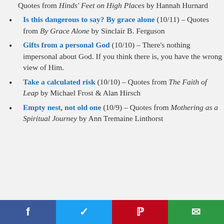Quotes from Hinds' Feet on High Places by Hannah Hurnard
Is this dangerous to say? By grace alone (10/11) – Quotes from By Grace Alone by Sinclair B. Ferguson
Gifts from a personal God (10/10) – There's nothing impersonal about God. If you think there is, you have the wrong view of Him.
Take a calculated risk (10/10) – Quotes from The Faith of Leap by Michael Frost & Alan Hirsch
Empty nest, not old one (10/9) – Quotes from Mothering as a Spiritual Journey by Ann Tremaine Linthorst
f  t  P  email